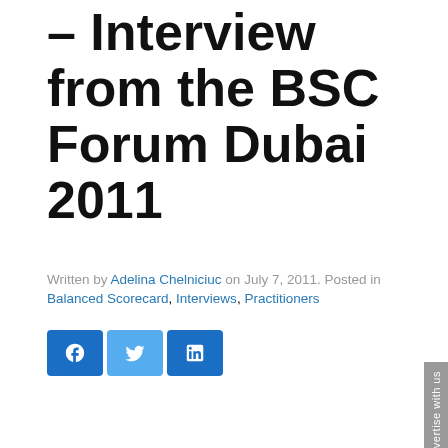– Interview from the BSC Forum Dubai 2011
Written by Adelina Chelniciuc on July 7, 2011. Posted in Balanced Scorecard, Interviews, Practitioners
[Figure (other): Social media share buttons: Facebook (blue), Twitter (light blue), LinkedIn (blue)]
Advertise with us